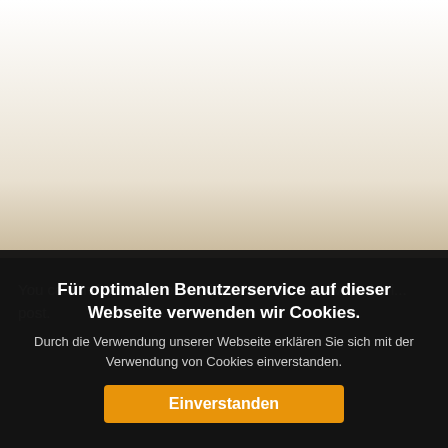[Figure (screenshot): Top portion of a webpage, white/beige background fading to dark, partially obscured by cookie consent overlay]
You can find out how to install WebMediaPortal with the i... post.
Für optimalen Benutzerservice auf dieser Webseite verwenden wir Cookies.
Durch die Verwendung unserer Webseite erklären Sie sich mit der Verwendung von Cookies einverstanden.
Einverstanden